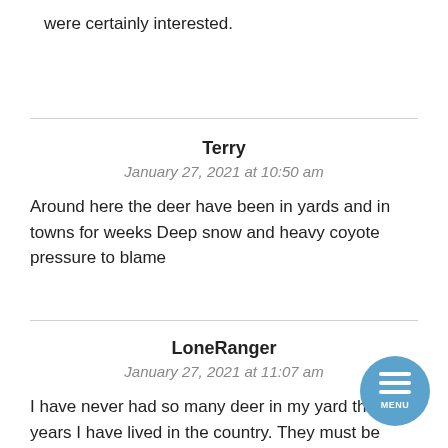were certainly interested.
Terry
January 27, 2021 at 10:50 am

Around here the deer have been in yards and in towns for weeks Deep snow and heavy coyote pressure to blame
LoneRanger
January 27, 2021 at 11:07 am

I have never had so many deer in my yard the 44 years I have lived in the country. They must be desperate for food as they have eaten my